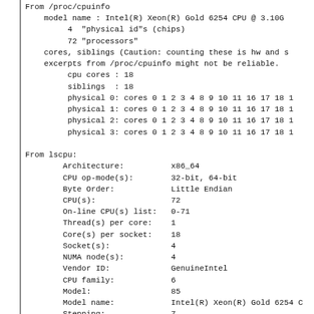From /proc/cpuinfo
    model name : Intel(R) Xeon(R) Gold 6254 CPU @ 3.10G
         4  "physical id"s (chips)
         72 "processors"
    cores, siblings (Caution: counting these is hw and s
    excerpts from /proc/cpuinfo might not be reliable.
         cpu cores : 18
         siblings  : 18
         physical 0: cores 0 1 2 3 4 8 9 10 11 16 17 18 1
         physical 1: cores 0 1 2 3 4 8 9 10 11 16 17 18 1
         physical 2: cores 0 1 2 3 4 8 9 10 11 16 17 18 1
         physical 3: cores 0 1 2 3 4 8 9 10 11 16 17 18 1

From lscpu:
        Architecture:          x86_64
        CPU op-mode(s):        32-bit, 64-bit
        Byte Order:            Little Endian
        CPU(s):                72
        On-line CPU(s) list:   0-71
        Thread(s) per core:    1
        Core(s) per socket:    18
        Socket(s):             4
        NUMA node(s):          4
        Vendor ID:             GenuineIntel
        CPU family:            6
        Model:                 85
        Model name:            Intel(R) Xeon(R) Gold 6254 C
        Stepping:              7
        CPU MHz:               2454.710
        CPU max MHz:           4000.0000
        CPU min MHz:           1000.0000